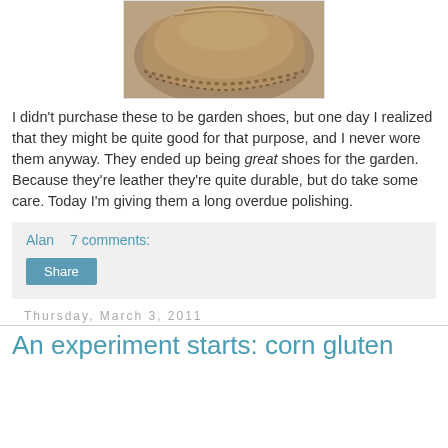[Figure (photo): Close-up photograph of a worn brown leather shoe/boot]
I didn't purchase these to be garden shoes, but one day I realized that they might be quite good for that purpose, and I never wore them anyway. They ended up being great shoes for the garden. Because they're leather they're quite durable, but do take some care. Today I'm giving them a long overdue polishing.
Alan   7 comments:
Share
Thursday, March 3, 2011
An experiment starts: corn gluten